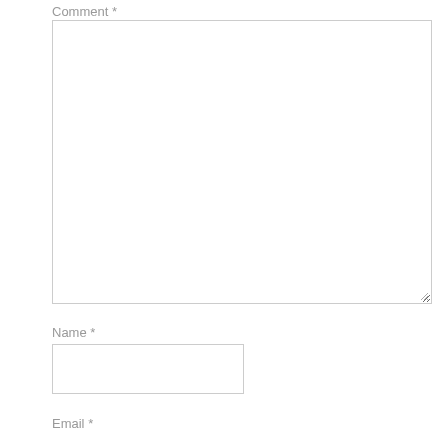Comment *
[Figure (screenshot): Empty comment textarea input field with resize handle in bottom-right corner]
Name *
[Figure (screenshot): Empty name text input field]
Email *